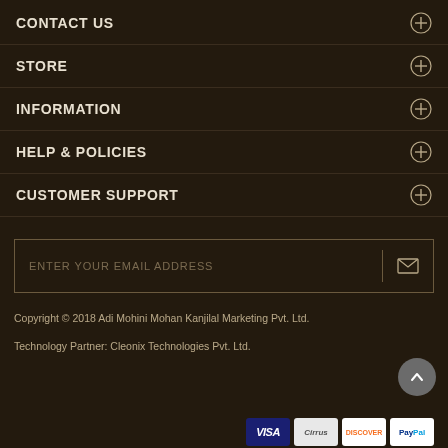CONTACT US
STORE
INFORMATION
HELP & POLICIES
CUSTOMER SUPPORT
ENTER YOUR EMAIL ADDRESS
Copyright © 2018 Adi Mohini Mohan Kanjilal Marketing Pvt. Ltd.
Technology Partner: Cleonix Technologies Pvt. Ltd.
[Figure (other): Payment method logos: Visa, Cirrus, Discover, PayPal]